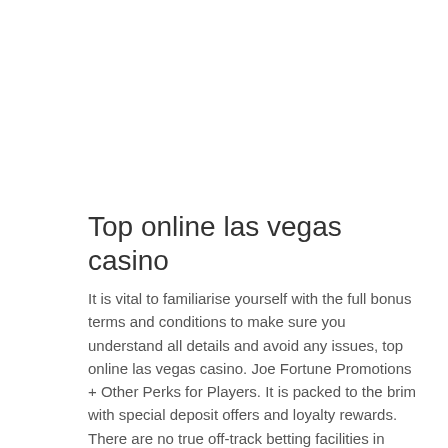Top online las vegas casino
It is vital to familiarise yourself with the full bonus terms and conditions to make sure you understand all details and avoid any issues, top online las vegas casino. Joe Fortune Promotions + Other Perks for Players. It is packed to the brim with special deposit offers and loyalty rewards.
There are no true off-track betting facilities in Arkansas, top online las vegas casino.